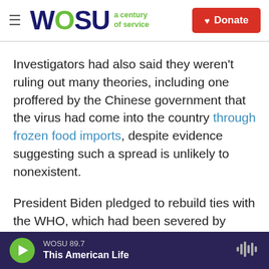WOSU a century of service | Donate
Investigators had also said they weren't ruling out many theories, including one proffered by the Chinese government that the virus had come into the country through frozen food imports, despite evidence suggesting such a spread is unlikely to nonexistent.
President Biden pledged to rebuild ties with the WHO, which had been severed by Trump. But as the preliminary findings were released, the Biden administration began expressing skepticism that the WHO report would offer a full picture of how
WOSU 89.7 | This American Life